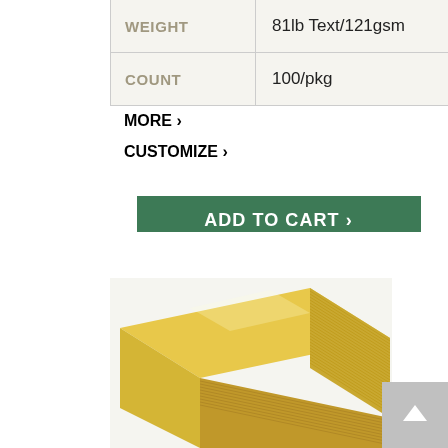|  |  |
| --- | --- |
| WEIGHT | 81lb Text/121gsm |
| COUNT | 100/pkg |
MORE ›
CUSTOMIZE ›
ADD TO CART ›
[Figure (photo): Stack of golden yellow paper sheets viewed from corner angle, showing the layered edges of approximately 100 sheets.]